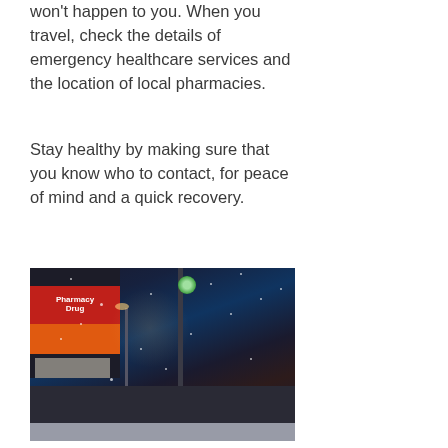won't happen to you. When you travel, check the details of emergency healthcare services and the location of local pharmacies.
Stay healthy by making sure that you know who to contact, for peace of mind and a quick recovery.
[Figure (photo): A snowy night street scene showing a pharmacy or convenience store with red illuminated signage, a traffic light pole, streetlights, and a dark car on a snow-covered urban street.]